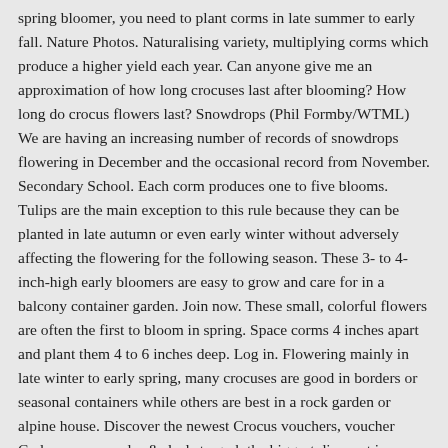spring bloomer, you need to plant corms in late summer to early fall. Nature Photos. Naturalising variety, multiplying corms which produce a higher yield each year. Can anyone give me an approximation of how long crocuses last after blooming? How long do crocus flowers last? Snowdrops (Phil Formby/WTML) We are having an increasing number of records of snowdrops flowering in December and the occasional record from November. Secondary School. Each corm produces one to five blooms. Tulips are the main exception to this rule because they can be planted in late autumn or even early winter without adversely affecting the flowering for the following season. These 3- to 4-inch-high early bloomers are easy to grow and care for in a balcony container garden. Join now. These small, colorful flowers are often the first to bloom in spring. Space corms 4 inches apart and plant them 4 to 6 inches deep. Log in. Flowering mainly in late winter to early spring, many crocuses are good in borders or seasonal containers while others are best in a rock garden or alpine house. Discover the newest Crocus vouchers, voucher Codes, promo codes & deals to grab the biggest discount in December 2020 ✿ Valid for a Limited Time ONLY! Shop Fall Flowering Crocus. The yellow and bronze ones started last week when it was so warm, only in the front garden that faces east. There are also several other varieties of beautiful fall-blooming crocus.